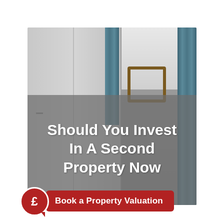[Figure (photo): Bedroom interior photo with blue curtains, wardrobe panels, and a decorative mirror on the wall. A gray semi-transparent overlay covers the lower portion of the image.]
Should You Invest In A Second Property Now
Book a Property Valuation